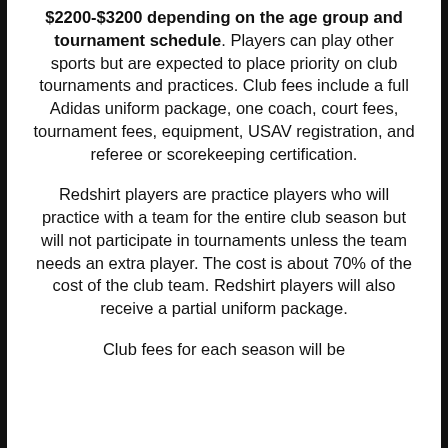$2200-$3200 depending on the age group and tournament schedule. Players can play other sports but are expected to place priority on club tournaments and practices. Club fees include a full Adidas uniform package, one coach, court fees, tournament fees, equipment, USAV registration, and referee or scorekeeping certification.
Redshirt players are practice players who will practice with a team for the entire club season but will not participate in tournaments unless the team needs an extra player. The cost is about 70% of the cost of the club team. Redshirt players will also receive a partial uniform package.
Club fees for each season will be